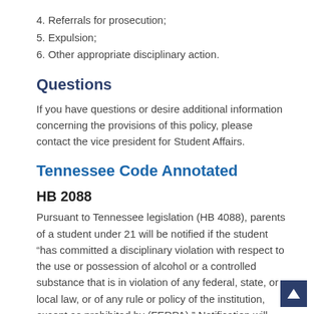4. Referrals for prosecution;
5. Expulsion;
6. Other appropriate disciplinary action.
Questions
If you have questions or desire additional information concerning the provisions of this policy, please contact the vice president for Student Affairs.
Tennessee Code Annotated
HB 2088
Pursuant to Tennessee legislation (HB 4088), parents of a student under 21 will be notified if the student “has committed a disciplinary violation with respect to the use or possession of alcohol or a controlled substance that is in violation of any federal, state, or local law, or of any rule or policy of the institution, except as prohibited by (FERPA).” Notification will occur when; 1) a plea of guilty to the disciplinary charges for that violation, 2) a final finding of